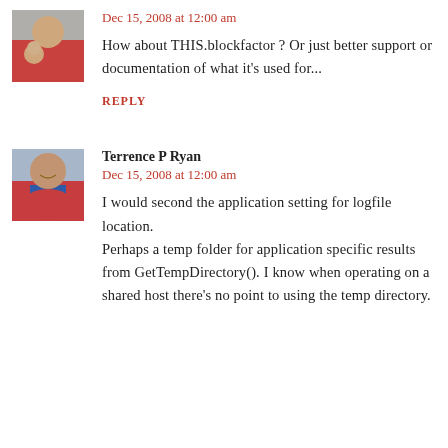[Figure (photo): Small avatar photo of a person with a child, wearing red]
Dec 15, 2008 at 12:00 am
How about THIS.blockfactor ? Or just better support or documentation of what it's used for...
REPLY
[Figure (photo): Avatar photo of Terrence P Ryan, man in red jacket]
Terrence P Ryan
Dec 15, 2008 at 12:00 am
I would second the application setting for logfile location. Perhaps a temp folder for application specific results from GetTempDirectory(). I know when operating on a shared host there's no point to using the temp directory.